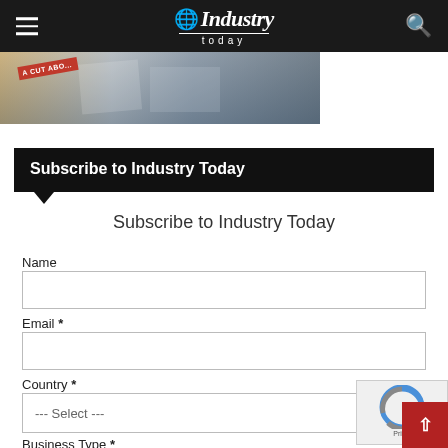Industry Today
[Figure (photo): Partial view of magazines or printed materials with a red 'A Cut Above' badge, fading into gray/blue tones]
Subscribe to Industry Today
Subscribe to Industry Today
Name
Email *
Country *
Business Type *